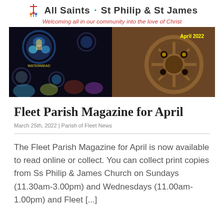All Saints · St Philip & St James
Welcoming all in our community into the love of Christ
[Figure (photo): Banner photo with stained glass windows on the left and an ornate stone wheel/rose window on the right with yellow text 'April 2022' in top right corner]
Fleet Parish Magazine for April
March 25th, 2022  |  Parish of Fleet News
The Fleet Parish Magazine for April is now available to read online or collect. You can collect print copies from Ss Philip & James Church on Sundays (11.30am-3.00pm) and Wednesdays (11.00am-1.00pm) and Fleet [...]